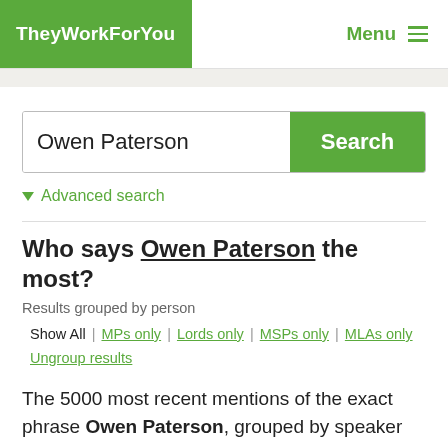TheyWorkForYou   Menu
Owen Paterson   Search
Advanced search
Who says Owen Paterson the most?
Results grouped by person
Show All | MPs only | Lords only | MSPs only | MLAs only
Ungroup results
The 5000 most recent mentions of the exact phrase Owen Paterson, grouped by speaker name.